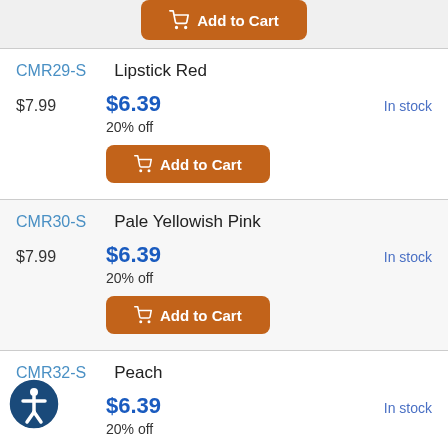[Figure (other): Partially visible orange Add to Cart button at top of page]
CMR29-S   Lipstick Red
$7.99   $6.39   In stock
20% off
[Figure (other): Orange Add to Cart button for CMR29-S]
CMR30-S   Pale Yellowish Pink
$7.99   $6.39   In stock
20% off
[Figure (other): Orange Add to Cart button for CMR30-S]
CMR32-S   Peach
$7.99 (partial)   $6.39   In stock
20% off
[Figure (other): Accessibility icon (person in circle) at bottom left]